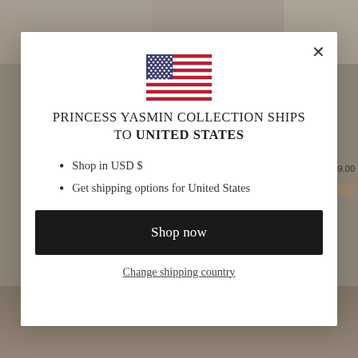[Figure (screenshot): Background e-commerce website showing fashion/jewelry product images, partially obscured by modal overlay]
[Figure (illustration): United States flag icon]
PRINCESS YASMIN COLLECTION SHIPS TO UNITED STATES
Shop in USD $
Get shipping options for United States
Shop now
Change shipping country